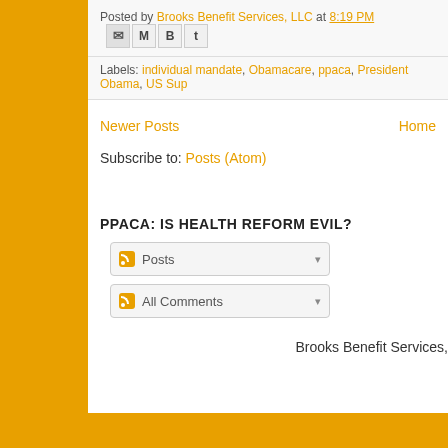Posted by Brooks Benefit Services, LLC at 8:19 PM [icons]
Labels: individual mandate, Obamacare, ppaca, President Obama, US Sup...
Newer Posts | Home
Subscribe to: Posts (Atom)
PPACA: IS HEALTH REFORM EVIL?
Posts [dropdown]
All Comments [dropdown]
Brooks Benefit Services,